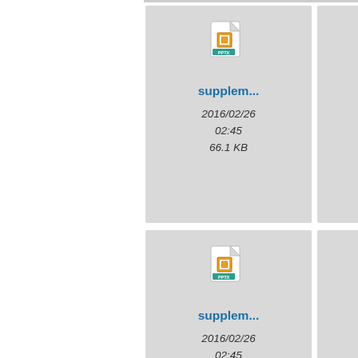[Figure (screenshot): File browser thumbnail grid showing PPTX files named 'supplem...' with dates 2016/02/26 02:45 and sizes 66.1 KB, 134.4 KB, 173.6 KB, 237.4 KB]
supplem...
2016/02/26
02:45
66.1 KB
supplem...
2016/02/26
02:45
134.4 KB
supplem...
2016/02/26
02:45
173.6 KB
supplem...
2016/02/26
02:45
237.4 KB